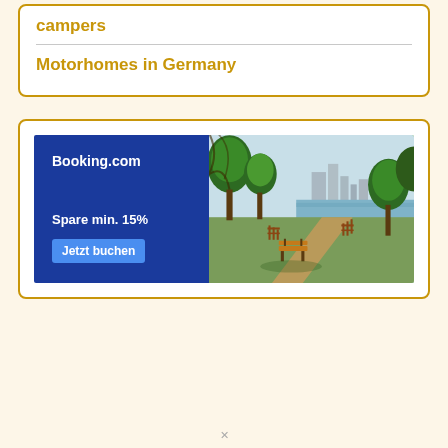campers
Motorhomes in Germany
[Figure (screenshot): Booking.com advertisement banner showing 'Spare min. 15%' and a 'Jetzt buchen' (Book now) button, with a park scene showing a waterfront path with benches and trees, and a city skyline in the background.]